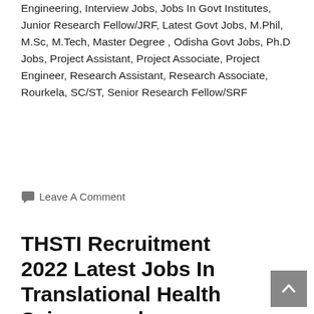Engineering, Interview Jobs, Jobs In Govt Institutes, Junior Research Fellow/JRF, Latest Govt Jobs, M.Phil, M.Sc, M.Tech, Master Degree , Odisha Govt Jobs, Ph.D Jobs, Project Assistant, Project Associate, Project Engineer, Research Assistant, Research Associate, Rourkela, SC/ST, Senior Research Fellow/SRF
💬 Leave A Comment
THSTI Recruitment 2022 Latest Jobs In Translational Health Science and Technology Institute